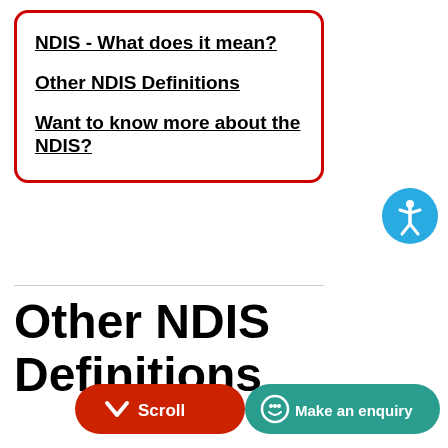NDIS - What does it mean?
Other NDIS Definitions
Want to know more about the NDIS?
[Figure (illustration): Blue circular accessibility icon with a human figure, white background]
Other NDIS Definitions
[Figure (other): Red rounded scroll button with chevron down arrow and text 'Scroll']
[Figure (other): Teal rounded button with chat/enquiry icon and text 'Make an enquiry']